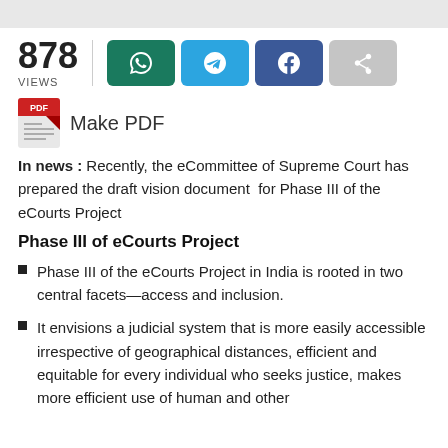878 VIEWS
Make PDF
In news : Recently, the eCommittee of Supreme Court has prepared the draft vision document for Phase III of the eCourts Project
Phase III of eCourts Project
Phase III of the eCourts Project in India is rooted in two central facets—access and inclusion.
It envisions a judicial system that is more easily accessible irrespective of geographical distances, efficient and equitable for every individual who seeks justice, makes more efficient use of human and other